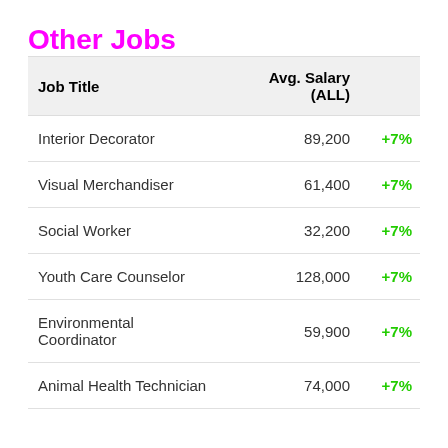Other Jobs
| Job Title | Avg. Salary (ALL) |  |
| --- | --- | --- |
| Interior Decorator | 89,200 | +7% |
| Visual Merchandiser | 61,400 | +7% |
| Social Worker | 32,200 | +7% |
| Youth Care Counselor | 128,000 | +7% |
| Environmental Coordinator | 59,900 | +7% |
| Animal Health Technician | 74,000 | +7% |